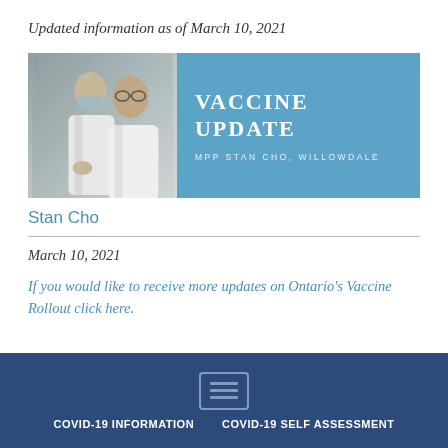Updated information as of March 10, 2021
[Figure (photo): Vaccine Update banner image showing two doctors in white lab coats with text 'VACCINE UPDATE' and 'MPP STAN CHO, WILLOWDALE' on a blue background]
Stan Cho
March 10, 2021
If you would like to receive more updates on Ontario's Vaccine Rollout click here.
COVID-19 INFORMATION   COVID-19 SELF ASSESSMENT